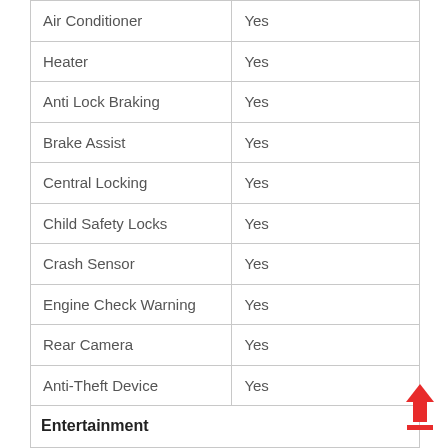| Feature | Value |
| --- | --- |
| Air Conditioner | Yes |
| Heater | Yes |
| Anti Lock Braking | Yes |
| Brake Assist | Yes |
| Central Locking | Yes |
| Child Safety Locks | Yes |
| Crash Sensor | Yes |
| Engine Check Warning | Yes |
| Rear Camera | Yes |
| Anti-Theft Device | Yes |
| Entertainment |  |
| Touch Screen | Yes |
| Audio System | Yes |
| Speakers Front &Back | Yes |